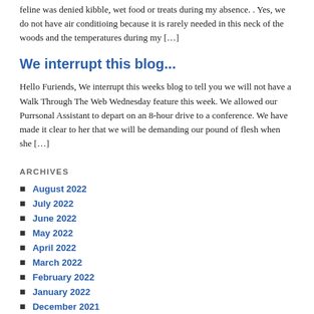feline was denied kibble, wet food or treats during my absence. . Yes, we do not have air conditioing because it is rarely needed in this neck of the woods and the temperatures during my [...]
We interrupt this blog...
Hello Furiends, We interrupt this weeks blog to tell you we will not have a Walk Through The Web Wednesday feature this week. We allowed our Purrsonal Assistant to depart on an 8-hour drive to a conference. We have made it clear to her that we will be demanding our pound of flesh when she [...]
ARCHIVES
August 2022
July 2022
June 2022
May 2022
April 2022
March 2022
February 2022
January 2022
December 2021